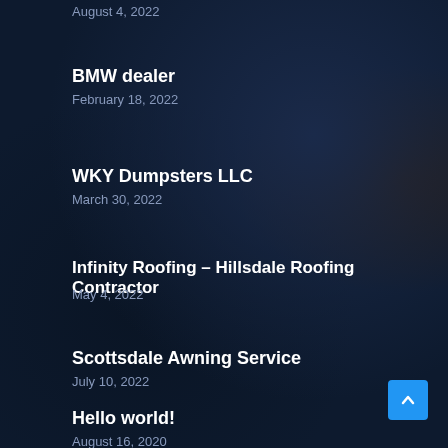August 4, 2022
BMW dealer
February 18, 2022
WKY Dumpsters LLC
March 30, 2022
Infinity Roofing – Hillsdale Roofing Contractor
May 4, 2022
Scottsdale Awning Service
July 10, 2022
Hello world!
August 16, 2020